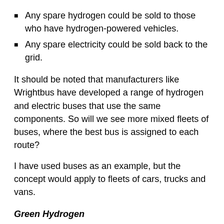Any spare hydrogen could be sold to those who have hydrogen-powered vehicles.
Any spare electricity could be sold back to the grid.
It should be noted that manufacturers like Wrightbus have developed a range of hydrogen and electric buses that use the same components. So will we see more mixed fleets of buses, where the best bus is assigned to each route?
I have used buses as an example, but the concept would apply to fleets of cars, trucks and vans.
Green Hydrogen
Large efficient electrolysers will surely be the key to producing large quantities of green hydrogen in the future.
It seems that at least 55 MWh is needed to produce...